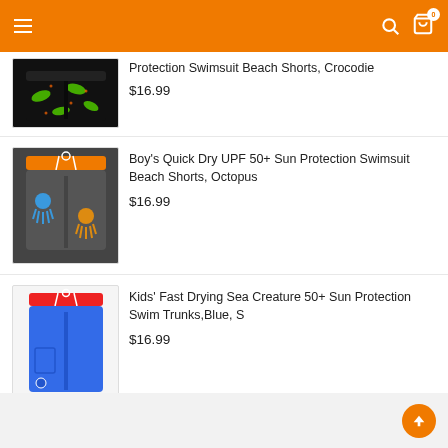Navigation bar with hamburger menu, search and cart icons
[Figure (photo): Partial product image - crocodile print black swim shorts]
Protection Swimsuit Beach Shorts, Crocodie
$16.99
[Figure (photo): Boy's Quick Dry UPF 50+ Sun Protection Swimsuit Beach Shorts with orange waistband, octopus print]
Boy's Quick Dry UPF 50+ Sun Protection Swimsuit Beach Shorts, Octopus
$16.99
[Figure (photo): Kids' Fast Drying Sea Creature 50+ Sun Protection Swim Trunks - blue with red waistband]
Kids' Fast Drying Sea Creature 50+ Sun Protection Swim Trunks,Blue, S
$16.99
VIEW ALL PRODUCTS